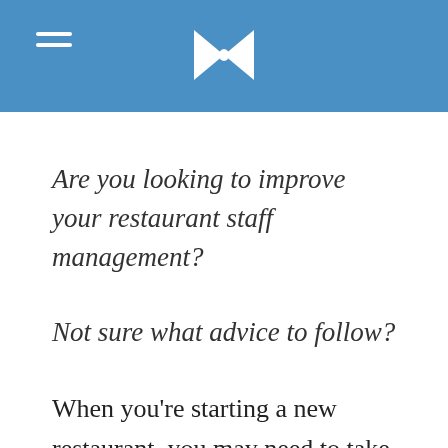Are you looking to improve your restaurant staff management?
Not sure what advice to follow?
When you're starting a new restaurant, you may need to take on the role of human resources manager as well - especially in small restaurants.